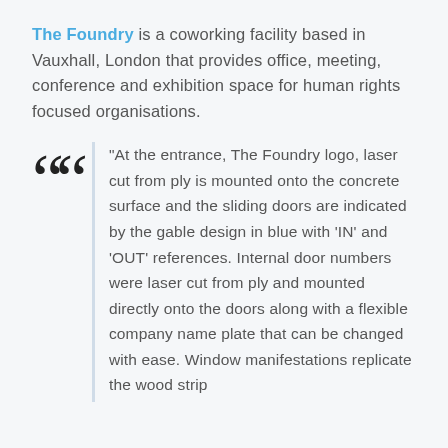The Foundry is a coworking facility based in Vauxhall, London that provides office, meeting, conference and exhibition space for human rights focused organisations.
“At the entrance, The Foundry logo, laser cut from ply is mounted onto the concrete surface and the sliding doors are indicated by the gable design in blue with ‘IN’ and ‘OUT’ references. Internal door numbers were laser cut from ply and mounted directly onto the doors along with a flexible company name plate that can be changed with ease. Window manifestations replicate the wood strip